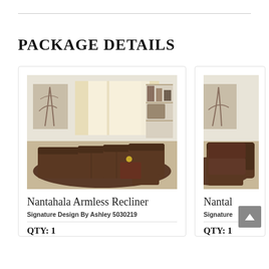PACKAGE DETAILS
[Figure (photo): Photo of Nantahala Armless Recliner sectional sofa in a living room setting with wall art, large windows with curtains, and a brown rug]
Nantahala Armless Recliner
Signature Design By Ashley 5030219
QTY: 1
[Figure (photo): Partial photo of Nantahala (second product) recliner chair in same living room setting]
Nantal
Signature
QTY: 1